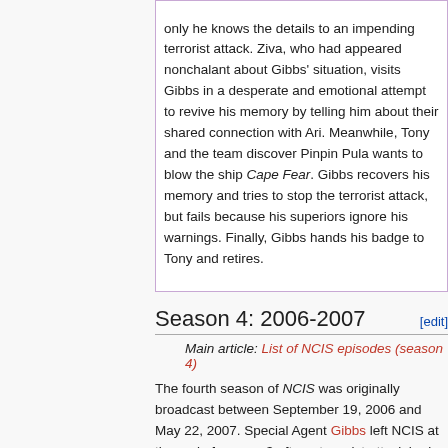only he knows the details to an impending terrorist attack. Ziva, who had appeared nonchalant about Gibbs' situation, visits Gibbs in a desperate and emotional attempt to revive his memory by telling him about their shared connection with Ari. Meanwhile, Tony and the team discover Pinpin Pula wants to blow the ship Cape Fear. Gibbs recovers his memory and tries to stop the terrorist attack, but fails because his superiors ignore his warnings. Finally, Gibbs hands his badge to Tony and retires.
Season 4: 2006-2007
Main article: List of NCIS episodes (season 4)
The fourth season of NCIS was originally broadcast between September 19, 2006 and May 22, 2007. Special Agent Gibbs left NCIS at the end of season 3 after a terrorist attack had been successful because his superiors did not heed his warnings. The team is now led by